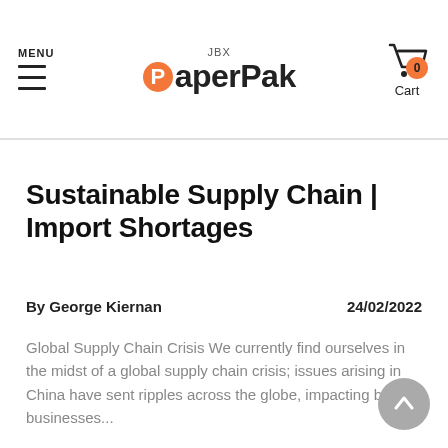MENU | JBX PaperPak | Cart 0
Sustainable Supply Chain | Import Shortages
By George Kiernan    24/02/2022
Global Supply Chain Crisis We currently find ourselves in the midst of a global supply chain crisis; issues arising in China have sent ripples across the globe, impacting both businesses...